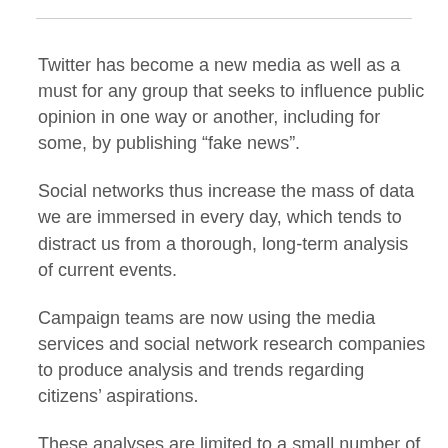Twitter has become a new media as well as a must for any group that seeks to influence public opinion in one way or another, including for some, by publishing “fake news”.
Social networks thus increase the mass of data we are immersed in every day, which tends to distract us from a thorough, long-term analysis of current events.
Campaign teams are now using the media services and social network research companies to produce analysis and trends regarding citizens’ aspirations.
These analyses are limited to a small number of